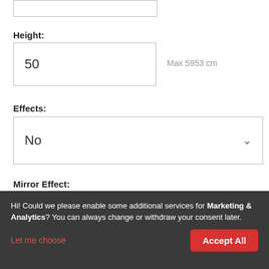Height:
50
Max 5953 cm
Effects:
No
Mirror Effect:
No
Price:
Hi! Could we please enable some additional services for Marketing & Analytics? You can always change or withdraw your consent later.
Let me choose
Accept All